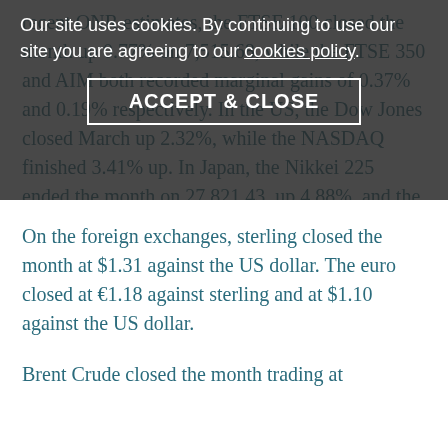recent ONR estimates, the FTSE 100 closed the month up 0.77% on 7,515.68, while the FTSE 350 and AIM both recorded marginal gains of 0.37% and 0.19% respectively. In the US, the Dow Jones closed March up 2.32%, while the NASDAQ finished 3.41% up. In Japan, the Nikkei 225 ended the month on 27,821.43, up 4.88%, and the Euro Stoxx 50 closed March down 0.55% on 3,902.52.
[Figure (screenshot): Cookie consent overlay banner with text 'Our site uses cookies. By continuing to use our site you are agreeing to our cookies policy.' and an ACCEPT & CLOSE button with border]
On the foreign exchanges, sterling closed the month at $1.31 against the US dollar. The euro closed at €1.18 against sterling and at $1.10 against the US dollar.
Brent Crude closed the month trading at